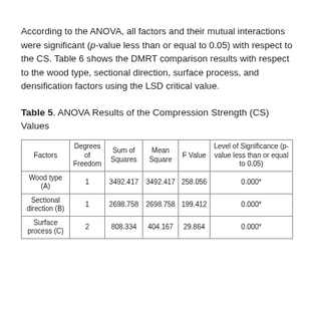According to the ANOVA, all factors and their mutual interactions were significant (p-value less than or equal to 0.05) with respect to the CS. Table 6 shows the DMRT comparison results with respect to the wood type, sectional direction, surface process, and densification factors using the LSD critical value.
Table 5. ANOVA Results of the Compression Strength (CS) Values
| Factors | Degrees of Freedom | Sum of Squares | Mean Square | F Value | Level of Significance (p-value less than or equal to 0.05) |
| --- | --- | --- | --- | --- | --- |
| Wood type (A) | 1 | 3492.417 | 3492.417 | 258.056 | 0.000* |
| Sectional direction (B) | 1 | 2698.758 | 2698.758 | 199.412 | 0.000* |
| Surface process (C) | 2 | 808.334 | 404.167 | 29.864 | 0.000* |